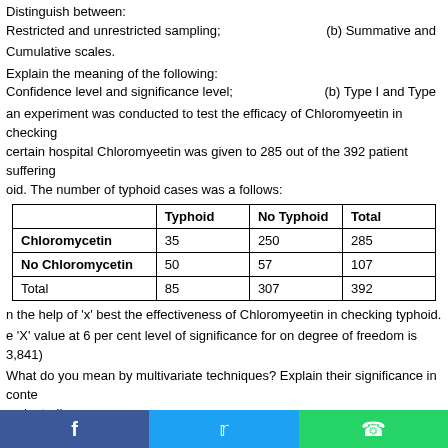Distinguish between: Restricted and unrestricted sampling; (b) Summative and Cumulative scales.
Explain the meaning of the following: Confidence level and significance level; (b) Type I and Type ...
an experiment was conducted to test the efficacy of Chloromyeetin in checking ... certain hospital Chloromyeetin was given to 285 out of the 392 patient suffering ... oid. The number of typhoid cases was a follows:
|  | Typhoid | No Typhoid | Total |
| --- | --- | --- | --- |
| Chloromycetin | 35 | 250 | 285 |
| No Chloromycetin | 50 | 57 | 107 |
| Total | 85 | 307 | 392 |
n the help of 'x' best the effectiveness of Chloromyeetin in checking typhoid.
e 'X' value at 6 per cent level of significance for on degree of freedom is 3,841)
What do you mean by multivariate techniques? Explain their significance in conte arch studies.
SECTION – B
(8 ...
TE: All questions carry equal marks. Attempt four in total, selection one from each section.
(i) Write short notes on:
Design of the research project; (b) Ex post facto s...